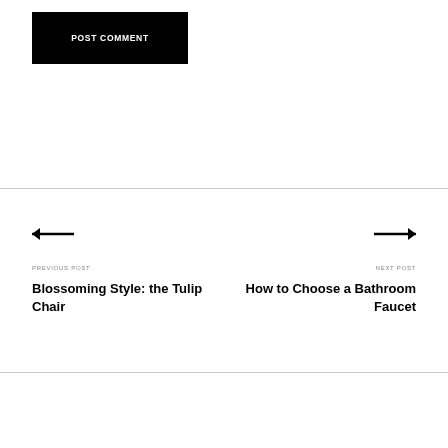POST COMMENT
← PREVIOUS POST
Blossoming Style: the Tulip Chair
NEXT POST →
How to Choose a Bathroom Faucet